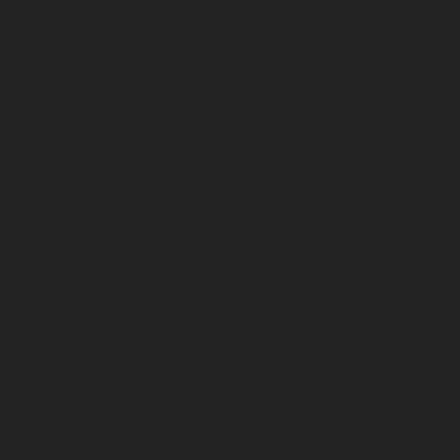is a "pro" for security "con" for those that don't take responsibility their actions. Now I know there are fellow practitioners subtle arts to varying on this site as I've had with their shit on an o One of the greatest le learned in life is how people are different th are the same to be tre accordingly. I've cons been personally traine occult sources for ov